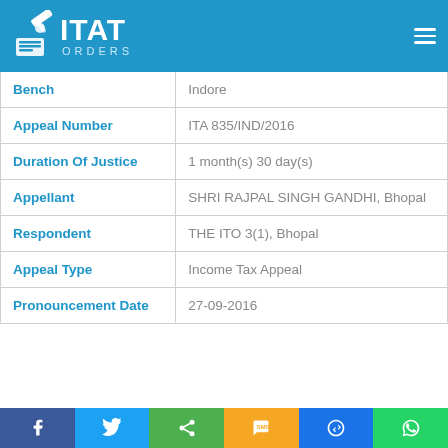[Figure (logo): ITAT Orders logo with gavel icon on blue header bar]
| Field | Value |
| --- | --- |
| Bench | Indore |
| Appeal Number | ITA 835/IND/2016 |
| Duration Of Justice | 1 month(s) 30 day(s) |
| Appellant | SHRI RAJPAL SINGH GANDHI, Bhopal |
| Respondent | THE ITO 3(1), Bhopal |
| Appeal Type | Income Tax Appeal |
| Pronouncement Date | 27-09-2016 |
[Figure (infographic): Social sharing bar with Facebook, Twitter, Share, SMS, Messenger, WhatsApp buttons]